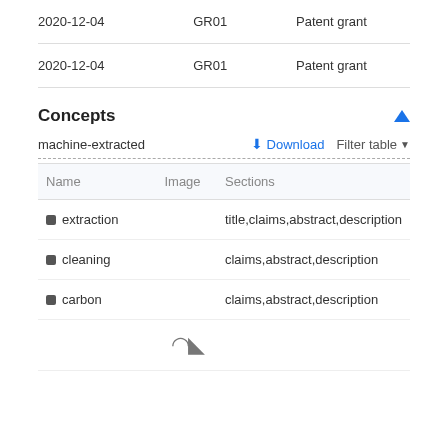| Date | Code | Description |
| --- | --- | --- |
| 2020-12-04 | GR01 | Patent grant |
| 2020-12-04 | GR01 | Patent grant |
Concepts
machine-extracted
| Name | Image | Sections |
| --- | --- | --- |
| extraction |  | title,claims,abstract,description |
| cleaning |  | claims,abstract,description |
| carbon |  | claims,abstract,description |